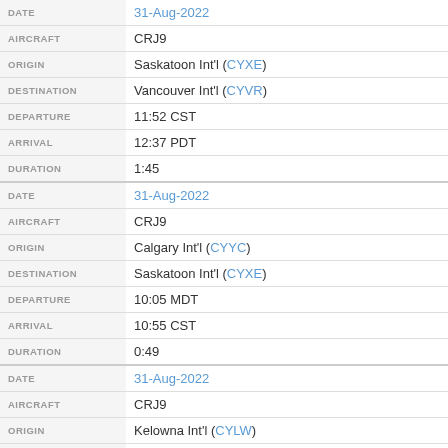| Field | Value |
| --- | --- |
| DATE | 31-Aug-2022 |
| AIRCRAFT | CRJ9 |
| ORIGIN | Saskatoon Int'l (CYXE) |
| DESTINATION | Vancouver Int'l (CYVR) |
| DEPARTURE | 11:52 CST |
| ARRIVAL | 12:37 PDT |
| DURATION | 1:45 |
| DATE | 31-Aug-2022 |
| AIRCRAFT | CRJ9 |
| ORIGIN | Calgary Int'l (CYYC) |
| DESTINATION | Saskatoon Int'l (CYXE) |
| DEPARTURE | 10:05 MDT |
| ARRIVAL | 10:55 CST |
| DURATION | 0:49 |
| DATE | 31-Aug-2022 |
| AIRCRAFT | CRJ9 |
| ORIGIN | Kelowna Int'l (CYLW) |
| DESTINATION | Calgary Int'l (CYYC) |
| DEPARTURE | 06:50 PDT |
| ARRIVAL | 08:31 MDT |